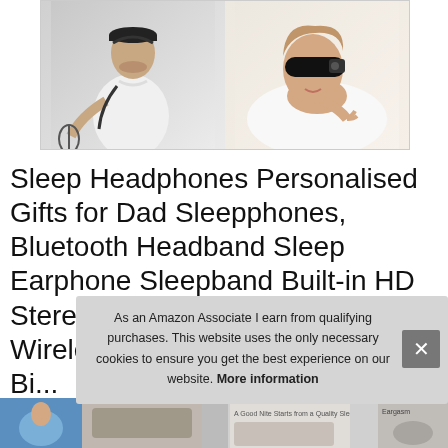[Figure (photo): Product image showing two photos side by side: left shows a man in white shirt holding a tennis racket wearing a headband, right shows a woman lying down wearing a sleep headphone eye mask]
Sleep Headphones Personalised Gifts for Dad Sleepphones, Bluetooth Headband Sleep Earphone Sleepband Built-in HD Stereo Speakers, Ultra-Soft Wireless Sleeping Headphones Bi...
[Figure (screenshot): Bottom thumbnails row showing partial product images]
As an Amazon Associate I earn from qualifying purchases. This website uses the only necessary cookies to ensure you get the best experience on our website. More information